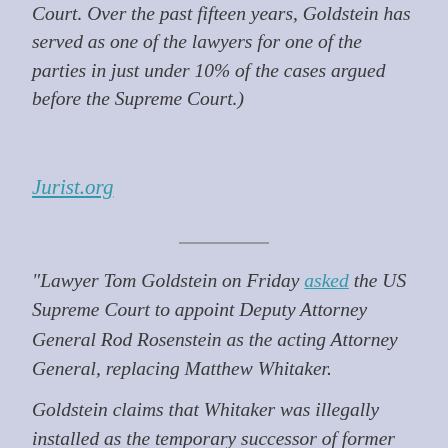Court. Over the past fifteen years, Goldstein has served as one of the lawyers for one of the parties in just under 10% of the cases argued before the Supreme Court.)
Jurist.org
“Lawyer Tom Goldstein on Friday asked the US Supreme Court to appoint Deputy Attorney General Rod Rosenstein as the acting Attorney General, replacing Matthew Whitaker.
Goldstein claims that Whitaker was illegally installed as the temporary successor of former